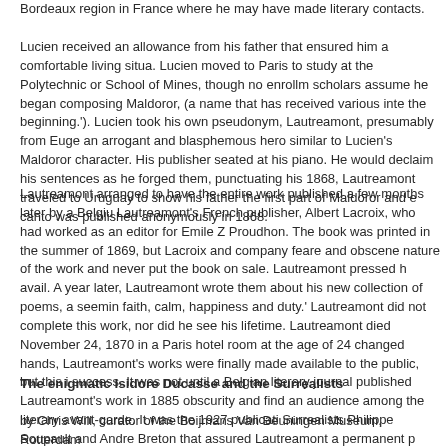Bordeaux region in France where he may have made literary contacts.
Lucien received an allowance from his father that ensured him a comfortable living situa... Lucien moved to Paris to study at the Polytechnic or School of Mines, though no enrollm... scholars assume he began composing Maldoror, (a name that has received various inte... the beginning.'). Lucien took his own pseudonym, Lautreamont, presumably from Euge... an arrogant and blasphemous hero similar to Lucien's Maldoror character. His publisher... seated at his piano. He would declaim his sentences as he forged them, punctuating his... 1868, Lautreamont traveled to Uruguay to show his father the first part of Maldoror and... canto was published anonymously in 1868.
Lautreamont arranged to have the entire work published a few months later by a Belgiu... Lautreamont's French publisher, Albert Lacroix, who had worked as an editor for Emile Z... Proudhon. The book was printed in the summer of 1869, but Lacroix and company feare... and obscene nature of the work and never put the book on sale. Lautreamont pressed h... avail. A year later, Lautreamont wrote them about his new collection of poems, a seemin... faith, calm, happiness and duty.' Lautreamont did not complete this work, nor did he see... his lifetime. Lautreamont died November 24, 1870 in a Paris hotel room at the age of 24... changed hands, Lautreamont's works were finally made available to the public, but this i... success. It was not until a Belgian literary journal published Lautreamont's work in 1885... obscurity and find an audience among the literary avant-garde. It was the 1927 publicati... Surrealists Philippe Soupault and Andre Breton that assured Lautreamont a permanent p... patron saint to the Surrealist movement.
The enigmatic Isidore Ducasse and the Surrealists
by Chris Will, curator of the Boijmans Van Beuningen Museum, Rotterdam